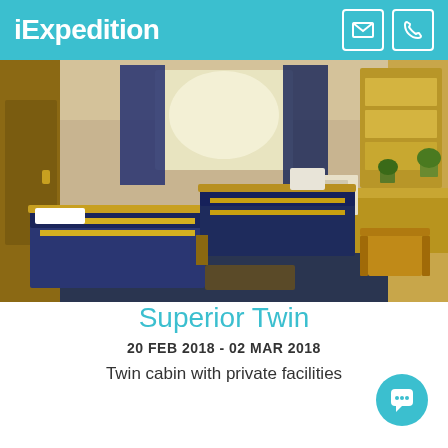iExpedition
[Figure (photo): Interior of a ship cabin showing two single beds with blue and yellow striped bedding, a wooden desk with chair, porthole windows with dark blue curtains, and wall-mounted shelves.]
Superior Twin
20 FEB 2018 - 02 MAR 2018
Twin cabin with private facilities